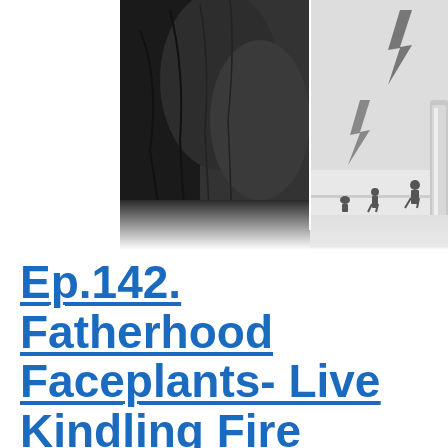[Figure (photo): Black and white composite image. Left half shows a close-up of a person wearing a dark denim or leather jacket. Right half shows a vintage black and white scene with people in the background, two gray lightning bolt symbols overlaid, and a partial chrome car bumper/door on the far right edge.]
Ep.142. Fatherhood Faceplants- Live Kindling Fire